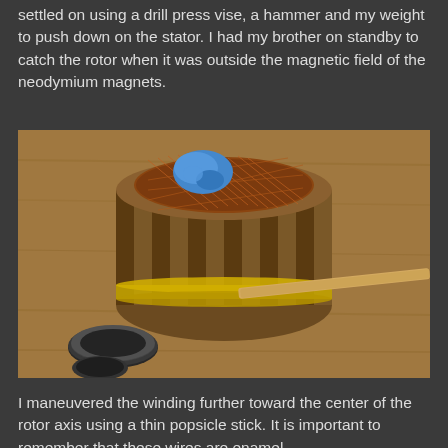settled on using a drill press vise, a hammer and my weight to push down on the stator. I had my brother on standby to catch the rotor when it was outside the magnetic field of the neodymium magnets.
[Figure (photo): Close-up photo of an electric motor stator with copper windings on a wooden workbench. A blue adhesive material is visible on top of the copper coils, and a wooden popsicle stick is inserted horizontally into the winding. A bearing ring is visible in the foreground on the left side of the workbench.]
I maneuvered the winding further toward the center of the rotor axis using a thin popsicle stick. It is important to remember that these wires are enamel